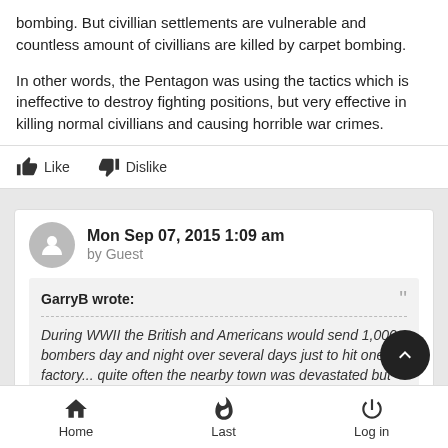bombing. But civillian settlements are vulnerable and countless amount of civillians are killed by carpet bombing.
In other words, the Pentagon was using the tactics which is ineffective to destroy fighting positions, but very effective in killing normal civillians and causing horrible war crimes.
Like   Dislike
Mon Sep 07, 2015 1:09 am
by Guest
GarryB wrote:
During WWII the British and Americans would send 1,000 bombers day and night over several days just to hit one factory... quite often the nearby town was devastated but the factory continued to function and was not destroyed.
Home   Last   Log in